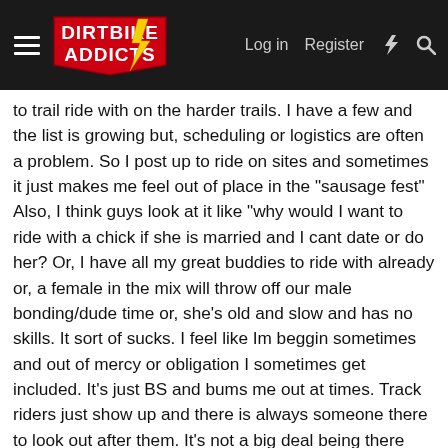Dirt Bike Addicts — Log in | Register
to trail ride with on the harder trails. I have a few and the list is growing but, scheduling or logistics are often a problem. So I post up to ride on sites and sometimes it just makes me feel out of place in the "sausage fest" Also, I think guys look at it like "why would I want to ride with a chick if she is married and I cant date or do her? Or, I have all my great buddies to ride with already or, a female in the mix will throw off our male bonding/dude time or, she's old and slow and has no skills. It sort of sucks. I feel like Im beggin sometimes and out of mercy or obligation I sometimes get included. It's just BS and bums me out at times. Track riders just show up and there is always someone there to look out after them. It's not a big deal being there alone. A lot of girls are riding MotoX now and it's awesome! Im a trail rider. I like to go waaaay out in to the wilderness and ride. So Im better off not doing it alone. Although I have and still do sometimes. I rode 78 miles by myself at gorman on a Thurs two weeks ago. But I didnt go up into the forest like I wanted to. The guy I was soppose to ride with canceled last minute 🙁 It has been getting much better over the